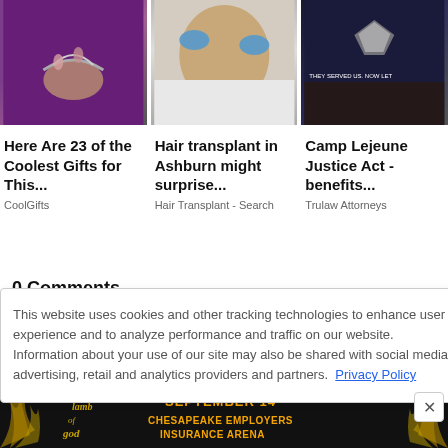[Figure (photo): Three sponsored article cards with images at top: (1) jewelry/chain with water, (2) hair transplant procedure, (3) military flag with star]
Here Are 23 of the Coolest Gifts for This...
CoolGifts
Hair transplant in Ashburn might surprise...
Hair Transplant - Search
Camp Lejeune Justice Act - benefits...
Trulaw Attorneys
0 Comments
Sort by Newest
This website uses cookies and other tracking technologies to enhance user experience and to analyze performance and traffic on our website. Information about your use of our site may also be shared with social media, advertising, retail and analytics providers and partners. Privacy Policy
[Figure (photo): Bottom advertisement: Lamb of God concert - September 14, Chesapeake Employers Insurance Arena]